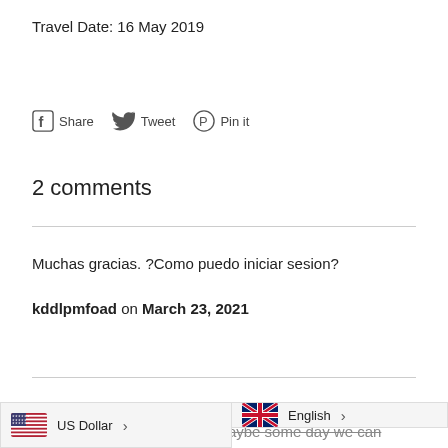Travel Date: 16 May 2019
[Figure (other): Social share buttons: Facebook Share, Twitter Tweet, Pinterest Pin it]
2 comments
Muchas gracias. ?Como puedo iniciar sesion?
kddlpmfoad on March 23, 2021
What beautiful story. Love your journeys immensely. You wonderful far away friends, maybe some day we can travel to
[Figure (other): Footer toolbar: US Dollar currency selector (left) and English language selector (right)]